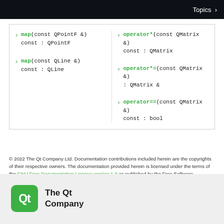Topics
map(const QPointF &) const : QPointF
map(const QLine &) const : QLine
operator*(const QMatrix &) const : QMatrix
operator*=(const QMatrix &) : QMatrix &
operator==(const QMatrix &) const : bool
© 2022 The Qt Company Ltd. Documentation contributions included herein are the copyrights of their respective owners. The documentation provided herein is licensed under the terms of the GNU Free Documentation License version 1.3 as published by the Free Software Foundation. Qt and respective logos are trademarks of The Qt Company Ltd. in Finland and/or other countries worldwide. All other trademarks are property of their respective owners.
[Figure (logo): Qt logo — green rounded rectangle with white Qt text, followed by 'The Qt Company' text]